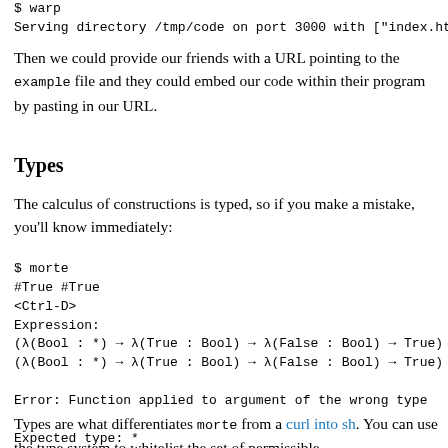$ warp
Serving directory /tmp/code on port 3000 with ["index.htm
Then we could provide our friends with a URL pointing to the example file and they could embed our code within their program by pasting in our URL.
Types
The calculus of constructions is typed, so if you make a mistake, you'll know immediately:
$ morte
#True #True
<Ctrl-D>
Expression:
(λ(Bool : *) → λ(True : Bool) → λ(False : Bool) → True)
(λ(Bool : *) → λ(True : Bool) → λ(False : Bool) → True)

Error: Function applied to argument of the wrong type

Expected type: *
Argument type: ∀(Bool : *) → ∀(True : Bool) → ∀(False : B
Types are what differentiates morte from a curl into sh. You can use the type system to whitelist the set of permissible